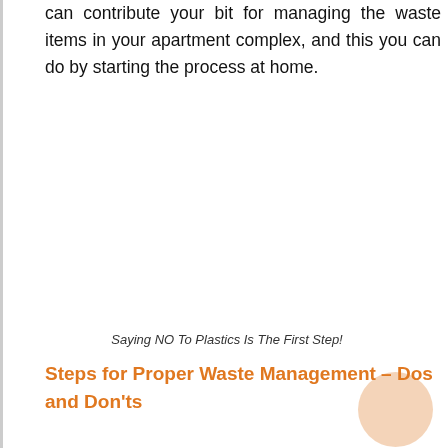can contribute your bit for managing the waste items in your apartment complex, and this you can do by starting the process at home.
Saying NO To Plastics Is The First Step!
Steps for Proper Waste Management – Dos and Don'ts